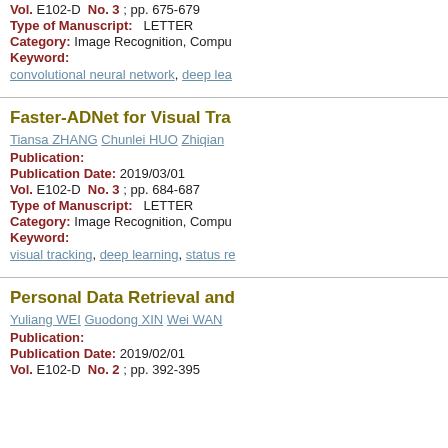Vol. E102-D  No. 3 ; pp. 675-679
Type of Manuscript:  LETTER
Category: Image Recognition, Compu...
Keyword:
convolutional neural network, deep lea...
Faster-ADNet for Visual Tra...
Tiansa ZHANG  Chunlei HUO  Zhiqian...
Publication:
Publication Date: 2019/03/01
Vol. E102-D  No. 3 ; pp. 684-687
Type of Manuscript:  LETTER
Category: Image Recognition, Compu...
Keyword:
visual tracking, deep learning, status re...
Personal Data Retrieval and...
Yuliang WEI  Guodong XIN  Wei WAN...
Publication:
Publication Date: 2019/02/01
Vol. E102-D  No. 2 ; pp. 392-395